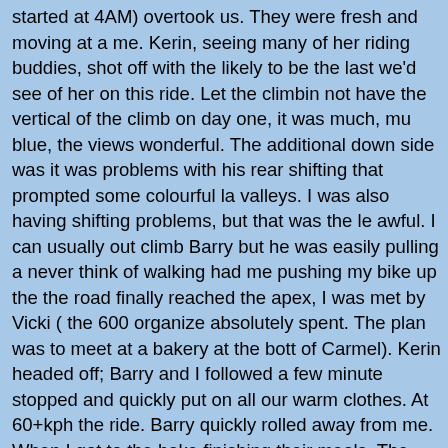started at 4AM) overtook us. They were fresh and moving at a me. Kerin, seeing many of her riding buddies, shot off with the likely to be the last we'd see of her on this ride. Let the climbin not have the vertical of the climb on day one, it was much, mu blue, the views wonderful. The additional down side was it was problems with his rear shifting that prompted some colourful la valleys. I was also having shifting problems, but that was the le awful. I can usually out climb Barry but he was easily pulling a never think of walking had me pushing my bike up the the road finally reached the apex, I was met by Vicki ( the 600 organize absolutely spent. The plan was to meet at a bakery at the bott of Carmel). Kerin headed off; Barry and I followed a few minute stopped and quickly put on all our warm clothes. At 60+kph the ride. Barry quickly rolled away from me. When I got to the bake finishing their meals. The thought of eating was both the highe did order and manage to eat a bowl of porridge. This actually r was keen to get rolling and headed off. Barry also wanted to r slowly so I could catch up to him. I left a minute or two later, a of me, and I did feel somewhat better (but not great) I just coul sight of him. This was my fault as I missed a turn and wandere dodging one way and divided roadways before getting back on felt reasonably good and although I had resigned myself to ridi designated overnight control alone I felt confident it was doable
About 20km south of Carmel, along that beautiful Big Sur coas